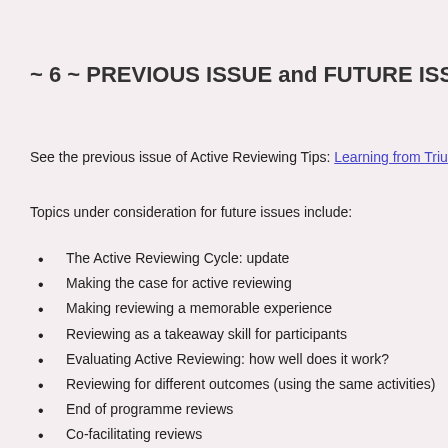~ 6 ~ PREVIOUS ISSUE and FUTURE ISSUES
See the previous issue of Active Reviewing Tips: Learning from Triu…
Topics under consideration for future issues include:
The Active Reviewing Cycle: update
Making the case for active reviewing
Making reviewing a memorable experience
Reviewing as a takeaway skill for participants
Evaluating Active Reviewing: how well does it work?
Reviewing for different outcomes (using the same activities)
End of programme reviews
Co-facilitating reviews
The art of improvising
Remote Reviewing
Reviewing over a cup of tea (informal reviewing)
Readers' Questions about Reviewing (please feed me with qu…
Sample designs for learning and development
Integrated practice in experiential learning (when does an act… a review become an activity? examples of integrated practice…